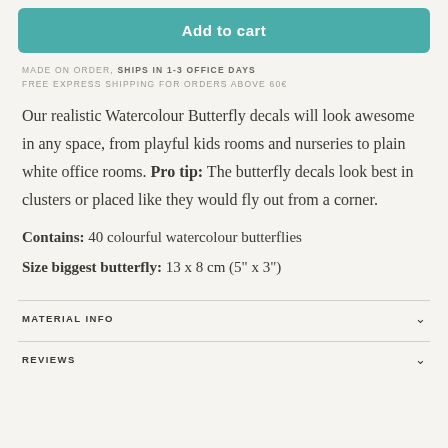Add to cart
MADE ON ORDER, SHIPS IN 1-3 OFFICE DAYS
FREE EXPRESS SHIPPING FOR ORDERS ABOVE 60€
Our realistic Watercolour Butterfly decals will look awesome in any space, from playful kids rooms and nurseries to plain white office rooms. Pro tip: The butterfly decals look best in clusters or placed like they would fly out from a corner.
Contains: 40 colourful watercolour butterflies
Size biggest butterfly: 13 x 8 cm (5" x 3")
MATERIAL INFO
REVIEWS